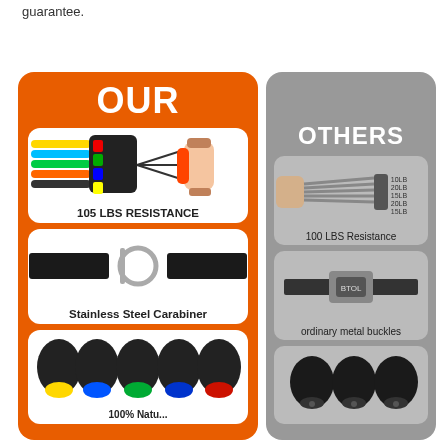guarantee.
[Figure (infographic): Product comparison infographic showing 'OUR' (orange panel) vs 'OTHERS' (gray panel) resistance band sets. OUR panel shows: 105 LBS RESISTANCE with colorful bands and handle, Stainless Steel Carabiner with D-ring on black strap, and colorful end caps with '100% Natu...' label. OTHERS panel shows: 100 LBS Resistance with plain bands, ordinary metal buckles, and plain black end caps.]